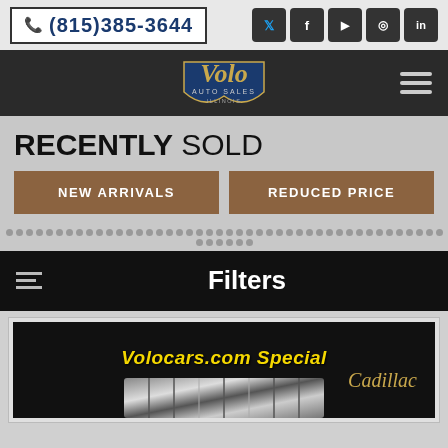(815)385-3644
[Figure (logo): Volo Auto Sales Illinois logo with gold script lettering on a shield emblem]
RECENTLY SOLD
NEW ARRIVALS
REDUCED PRICE
Filters
[Figure (photo): Car listing image showing Volocars.com Special Cadillac with chrome grille detail]